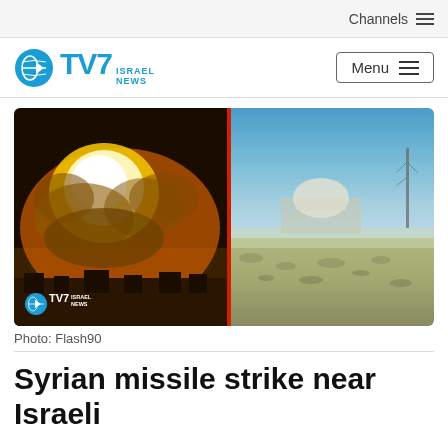Channels
[Figure (logo): TV7 Israel News logo with teal circular globe icon]
[Figure (photo): Split photo: left side shows an explosion fireball with orange glow and smoke in night/dusk, with TV7 Israel News watermark; right side shows a distant dome structure and antenna in desert landscape under blue sky]
Photo: Flash90
Syrian missile strike near Israeli